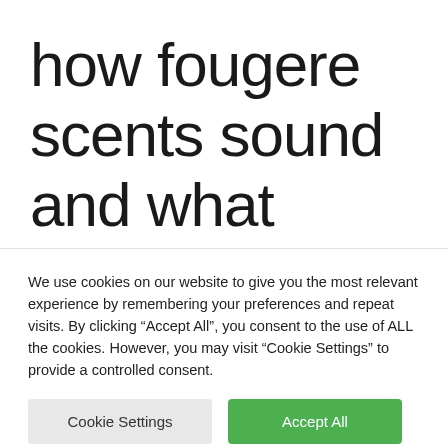how fougere scents sound and what mosses have to do with it
We use cookies on our website to give you the most relevant experience by remembering your preferences and repeat visits. By clicking “Accept All”, you consent to the use of ALL the cookies. However, you may visit “Cookie Settings” to provide a controlled consent.